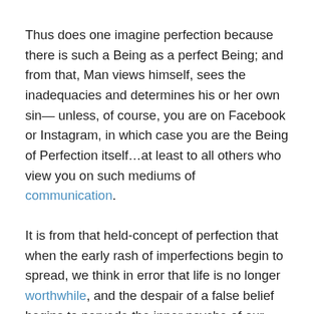Thus does one imagine perfection because there is such a Being as a perfect Being; and from that, Man views himself, sees the inadequacies and determines his or her own sin— unless, of course, you are on Facebook or Instagram, in which case you are the Being of Perfection itself…at least to all others who view you on such mediums of communication.
It is from that held-concept of perfection that when the early rash of imperfections begin to spread, we think in error that life is no longer worthwhile, and the despair of a false belief begins to pervade the inner psyche of our private lives.
For Federal employees and U.S. Postal workers who suffer from a medical condition, where the medical